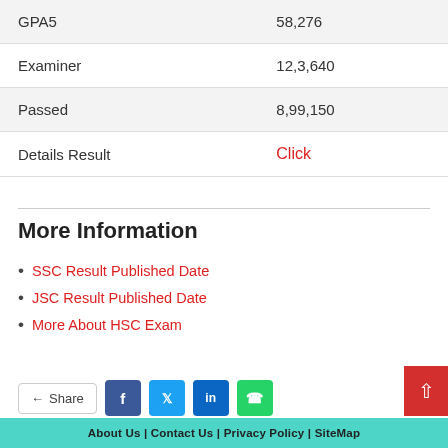|  |  |
| --- | --- |
| GPA5 | 58,276 |
| Examiner | 12,3,640 |
| Passed | 8,99,150 |
| Details Result | Click |
More Information
SSC Result Published Date
JSC Result Published Date
More About HSC Exam
About Us | Contact Us | Privacy Policy | SiteMap